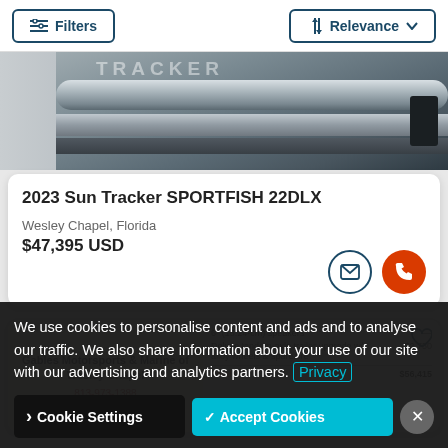Filters | Relevance
[Figure (photo): Partial photo of a boat hull with TRACKER branding visible, silver/metallic finish]
2023 Sun Tracker SPORTFISH 22DLX
Wesley Chapel, Florida
$47,395 USD
[Figure (screenshot): Partial listing card showing Gables Motorsports & Marine of Wesley Chapel dealer, pricing table with Total $56,415, and a heart icon]
We use cookies to personalise content and ads and to analyse our traffic. We also share information about your use of our site with our advertising and analytics partners. Privacy
Cookie Settings | Accept Cookies